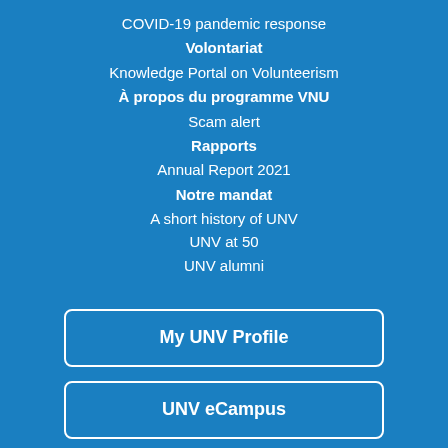COVID-19 pandemic response
Volontariat
Knowledge Portal on Volunteerism
À propos du programme VNU
Scam alert
Rapports
Annual Report 2021
Notre mandat
A short history of UNV
UNV at 50
UNV alumni
My UNV Profile
UNV eCampus